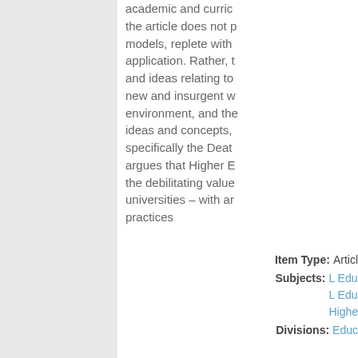academic and curric... the article does not p... models, replete with... application. Rather, t... and ideas relating to... new and insurgent w... environment, and the... ideas and concepts,... specifically the Deat... argues that Higher E... the debilitating value... universities – with ar... practices
Item Type: Article
Subjects: L Edu... L Edu... Highe...
Divisions: Edu...